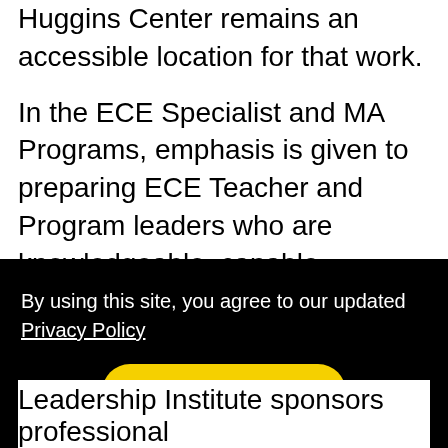Huggins Center remains an accessible location for that work.
In the ECE Specialist and MA Programs, emphasis is given to preparing ECE Teacher and Program leaders who are knowledgeable, capable advocates for best practices. Using their current ECE work settings as a resource and with opportunities to observe and learn in other ECE settings, ECE graduate students deepen their content knowledge, acquire professional skills and dispositions, and are able to draw on theoretical and practical foundations in their work.
By using this site, you agree to our updated Privacy Policy
Got it!
Leadership Institute sponsors professional